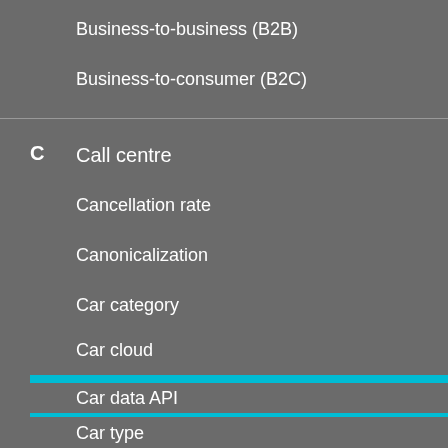Business-to-business (B2B)
Business-to-consumer (B2C)
C
Call centre
Cancellation rate
Canonicalization
Car category
Car cloud
Car data API
Car dongle
We use cookies to provide you with a great user experience. By continuing to use Car Rental Gateway’s glossary, you accept our use of cookies.
Car type